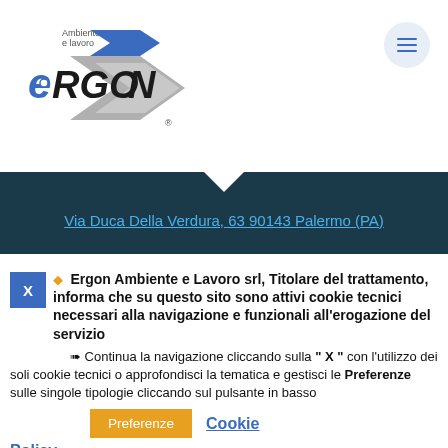[Figure (logo): Ergon Ambiente e Lavoro logo with blue arrows and stylized text]
Via Duca Della Verdura, 63 90143 Palermo (PA)
X ◆ Ergon Ambiente e Lavoro srl, Titolare del trattamento, informa che su questo sito sono attivi cookie tecnici necessari alla navigazione e funzionali all'erogazione del servizio
➠ Continua la navigazione cliccando sulla " X " con l'utilizzo dei soli cookie tecnici o approfondisci la tematica e gestisci le Preferenze sulle singole tipologie cliccando sul pulsante in basso
Preferenze   Cookie Policy